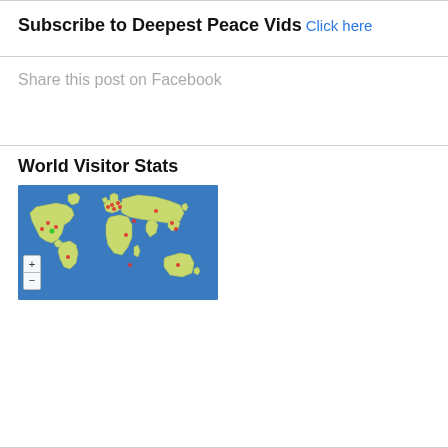Subscribe to Deepest Peace Vids
Click here
Share this post on Facebook
World Visitor Stats
[Figure (map): World visitor stats map showing 181 Pageviews Jul 24th - Aug 24th with red dot markers on various countries across North America, Europe, Asia, Africa, and Australia on a blue background with yellow-green landmasses. Zoom +/- controls in lower left.]